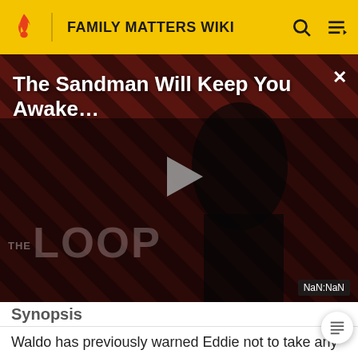FAMILY MATTERS WIKI
[Figure (screenshot): Video thumbnail for 'The Sandman Will Keep You Awake...' showing a dark figure against diagonal red-black stripe pattern with a play button overlay and THE LOOP watermark. A NaN:NaN timestamp badge appears in the bottom right.]
Synopsis
Waldo has previously warned Eddie not to take any of his stuff without asking. He points out that he's still mad at the latter because he ruined his socks and never returned his stuff. Waldo mentions that Eddie never asks if he can